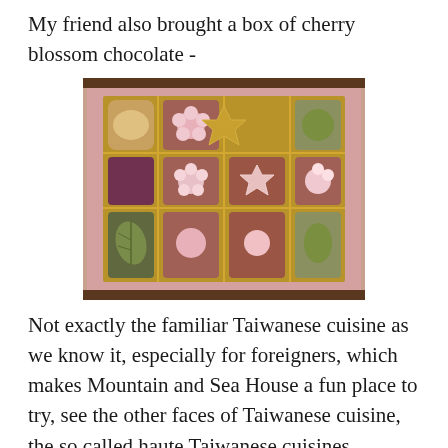My friend also brought a box of cherry blossom chocolate -
[Figure (photo): A box of cherry blossom chocolates in a pink box with a gold grid tray, featuring various shaped chocolates including flower-shaped pieces, round ones, and green leaf-shaped pieces.]
Not exactly the familiar Taiwanese cuisine as we know it, especially for foreigners, which makes Mountain and Sea House a fun place to try, see the other faces of Taiwanese cuisine, the so called haute Taiwanese cuisines.
On a side note, I'm very grateful that we can still dine at the restaurant here in Taiwan during the virus outbreak.